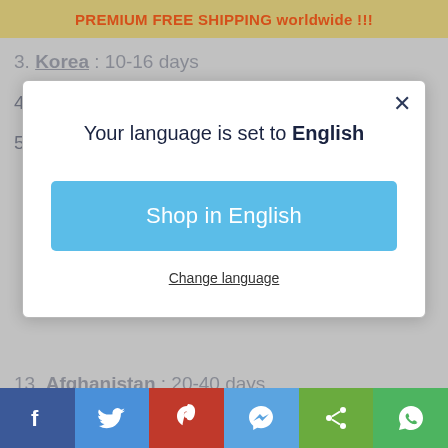PREMIUM FREE SHIPPING worldwide !!!
3. Korea : 10-16 days
4. Singapore : 14-24 days
5. China - Hong Kong : 15-25 days
[Figure (screenshot): Modal dialog overlay with text 'Your language is set to English', a blue 'Shop in English' button, and a 'Change language' link. An X close button is in the top right corner.]
13. Afghanistan : 20-40 days
14. Taiwan : 20-40 days
15. Other Asian Countries : 40 days
Social share bar: Facebook, Twitter, Pinterest, Messenger, Share, WhatsApp